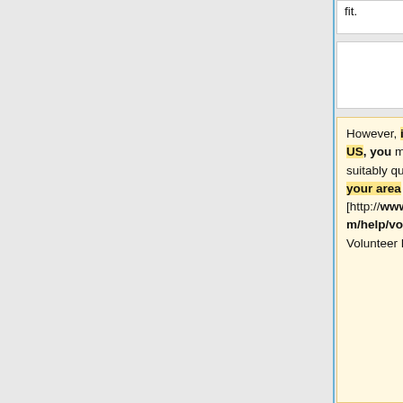fit.
fit.
However, if you are based in the US, you may be able to find a suitably qualified volunteer lawyer in your area from [http://www.starvingartistslaw.com/help/volunteer%20lawyers.htm Volunteer Lawyers for the Arts].
However, we do maintain a [[CC_Friendly_Lawyers | list of lawyers and organizations]] who have identified themselves as being willing to advise clients about CC licensing issues. Please note that CC does not provide referral services, and that we do not necessarily